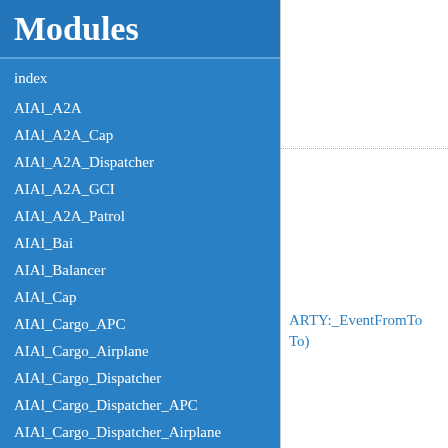Modules
index
AIAl_A2A
AIAl_A2A_Cap
AIAl_A2A_Dispatcher
AIAl_A2A_GCI
AIAl_A2A_Patrol
AIAl_Bai
AIAl_Balancer
AIAl_Cap
AIAl_Cargo_APC
AIAl_Cargo_Airplane
AIAl_Cargo_Dispatcher
AIAl_Cargo_Dispatcher_APC
AIAl_Cargo_Dispatcher_Airplane
AIAl_Cargo_Dispatcher_Helicopte
ARTY:_EventFromTo)
To)